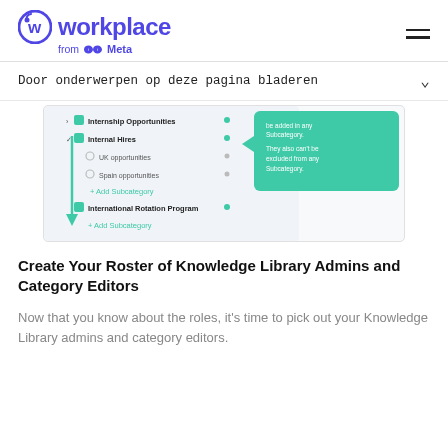workplace from Meta
Door onderwerpen op deze pagina bladeren
[Figure (screenshot): Screenshot of a Knowledge Library category editor UI showing: Internship Opportunities, Internal Hires (expanded with UK opportunities and Spain opportunities subcategories, plus Add Subcategory option), International Rotation Program, Add Subcategory. A green arrow points downward. A tooltip callout on the right reads: 'be added in any Subcategory. They also can't be excluded from any Subcategory.']
Create Your Roster of Knowledge Library Admins and Category Editors
Now that you know about the roles, it's time to pick out your Knowledge Library admins and category editors.